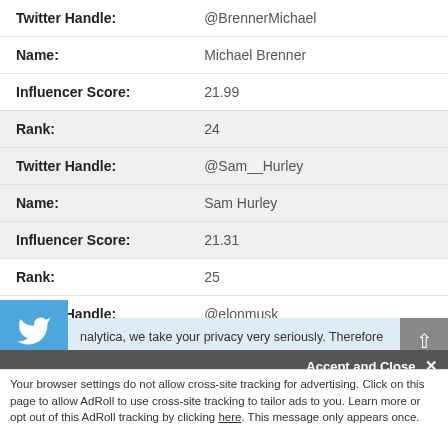| Twitter Handle: | @BrennerMichael |
| Name: | Michael Brenner |
| Influencer Score: | 21.99 |
| Rank: | 24 |
| Twitter Handle: | @Sam__Hurley |
| Name: | Sam Hurley |
| Influencer Score: | 21.31 |
| Rank: | 25 |
| Twitter Handle: | @elonmusk |
nalytica, we take your privacy very seriously. Therefore we would like orm you what data we collect, as well as when and how we deal with personal information. To learn more, read our Privacy and Cookie Policy. If you have any questions, don't hesitate to contact us.
Accept and Close ✕
Your browser settings do not allow cross-site tracking for advertising. Click on this page to allow AdRoll to use cross-site tracking to tailor ads to you. Learn more or opt out of this AdRoll tracking by clicking here. This message only appears once.